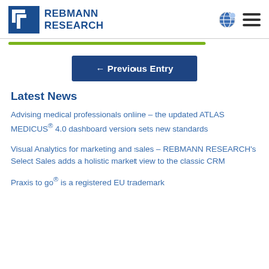REBMANN RESEARCH
← Previous Entry
Latest News
Advising medical professionals online – the updated ATLAS MEDICUS® 4.0 dashboard version sets new standards
Visual Analytics for marketing and sales – REBMANN RESEARCH's Select Sales adds a holistic market view to the classic CRM
Praxis to go® is a registered EU trademark